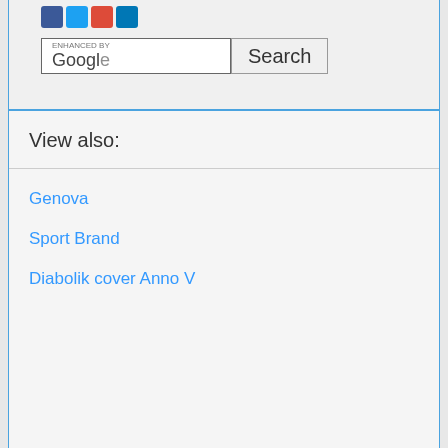[Figure (screenshot): Google search bar with 'ENHANCED BY Google' text and a Search button]
View also:
Genova
Sport Brand
Diabolik cover Anno V